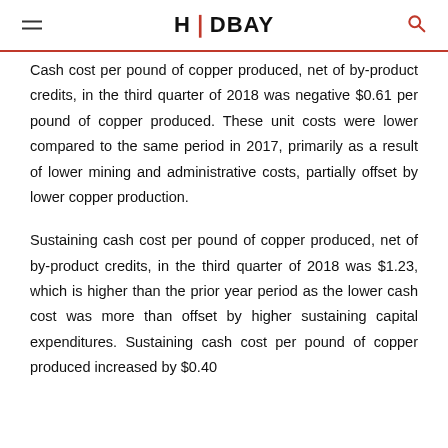HUDBAY
Cash cost per pound of copper produced, net of by-product credits, in the third quarter of 2018 was negative $0.61 per pound of copper produced. These unit costs were lower compared to the same period in 2017, primarily as a result of lower mining and administrative costs, partially offset by lower copper production.
Sustaining cash cost per pound of copper produced, net of by-product credits, in the third quarter of 2018 was $1.23, which is higher than the prior year period as the lower cash cost was more than offset by higher sustaining capital expenditures. Sustaining cash cost per pound of copper produced increased by $0.40